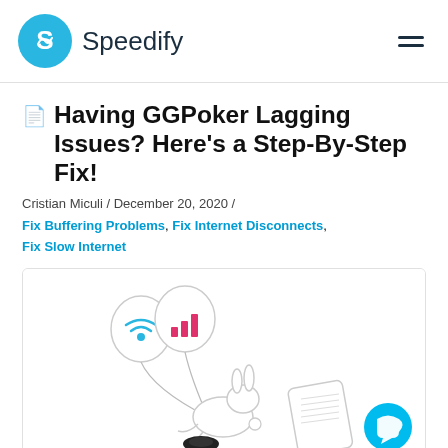Speedify
📄 Having GGPoker Lagging Issues? Here's a Step-By-Step Fix!
Cristian Miculi / December 20, 2020 /
Fix Buffering Problems, Fix Internet Disconnects, Fix Slow Internet
[Figure (illustration): Illustration of a rabbit holding balloons with wifi and signal icons, running past a smartphone. A teal chat button is in the bottom right corner.]